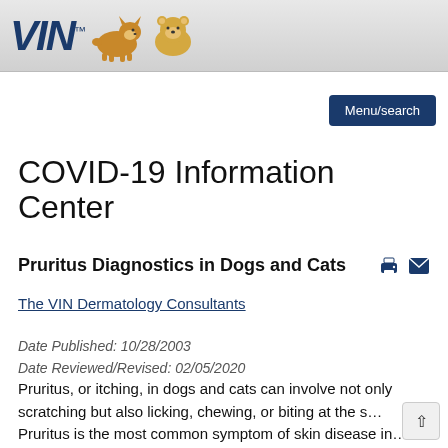VIN™ [logo with corgi and hamster illustrations]
Menu/search
COVID-19 Information Center
Pruritus Diagnostics in Dogs and Cats
The VIN Dermatology Consultants
Date Published: 10/28/2003
Date Reviewed/Revised: 02/05/2020
Pruritus, or itching, in dogs and cats can involve not only scratching but also licking, chewing, or biting at the s… Pruritus is the most common symptom of skin disease in…